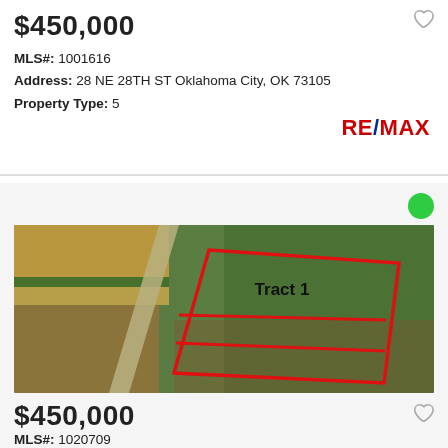$450,000
MLS#: 1001616
Address: 28 NE 28TH ST Oklahoma City, OK 73105
Property Type: 5
RE/MAX
[Figure (photo): Aerial photograph of rural land parcels with red boundary lines outlining tracts. Label 'Tract 1' visible on the largest parcel. Mixed land use with trees, open fields, and a road visible.]
$450,000
MLS#: 1020709